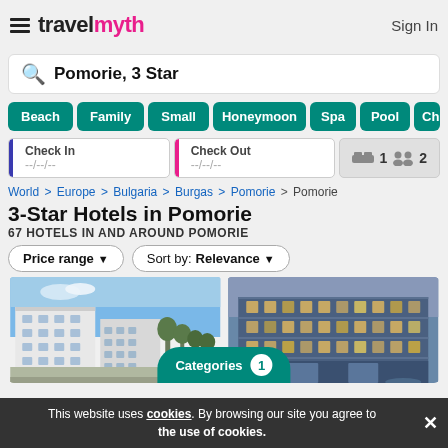travelmyth  Sign In
Pomorie, 3 Star
Beach
Family
Small
Honeymoon
Spa
Pool
Ch...
Check In --/--/--
Check Out --/--/--
1  2
World > Europe > Bulgaria > Burgas > Pomorie > Pomorie
3-Star Hotels in Pomorie
67 HOTELS IN AND AROUND POMORIE
Price range ▾   Sort by: Relevance ▾
[Figure (photo): Two hotel building photos side by side: left shows a white modern hotel complex under blue sky; right shows a hotel with illuminated facade at dusk]
Categories 1
This website uses cookies. By browsing our site you agree to the use of cookies.